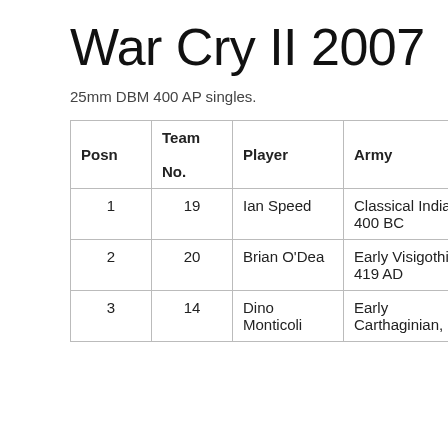War Cry II 2007
25mm DBM 400 AP singles.
| Posn | Team No. | Player | Army | Round 1 | Round 2 |
| --- | --- | --- | --- | --- | --- |
| 1 | 19 | Ian Speed | Classical Indian, 400 BC | 10 | 10 |
| 2 | 20 | Brian O'Dea | Early Visigothic, 419 AD | 10 | 5 |
| 3 | 14 | Dino Monticoli | Early Carthaginian, | 7 | 9 |